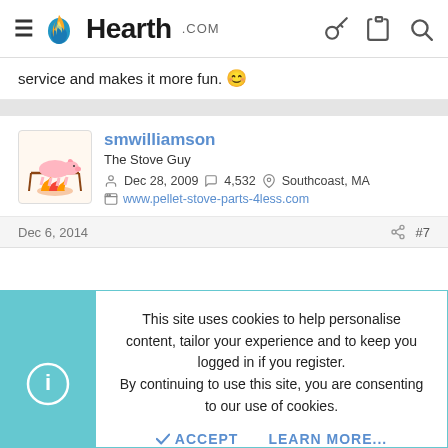Hearth.com
service and makes it more fun. 😊
smwilliamson
The Stove Guy
Dec 28, 2009  4,532  Southcoast, MA
www.pellet-stove-parts-4less.com
Dec 6, 2014  #7
This site uses cookies to help personalise content, tailor your experience and to keep you logged in if you register.
By continuing to use this site, you are consenting to our use of cookies.
✓ ACCEPT    LEARN MORE...